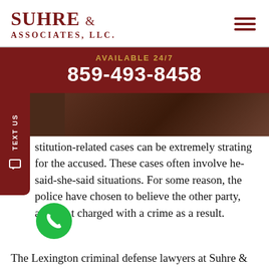[Figure (logo): Suhre & Associates, LLC law firm logo with hamburger menu icon]
AVAILABLE 24/7
859-493-8458
[Figure (photo): Dark background photo strip, partially visible, showing a person in dark setting]
...stitution-related cases can be extremely ...strating for the accused. These cases often involve he-said-she-said situations. For some reason, the police have chosen to believe the other party, and y...t charged with a crime as a result.
The Lexington criminal defense lawyers at Suhre &